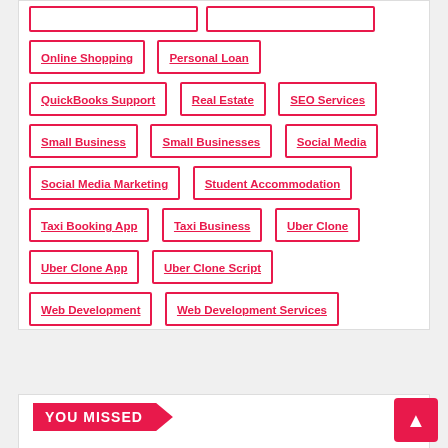Online Shopping
Personal Loan
QuickBooks Support
Real Estate
SEO Services
Small Business
Small Businesses
Social Media
Social Media Marketing
Student Accommodation
Taxi Booking App
Taxi Business
Uber Clone
Uber Clone App
Uber Clone Script
Web Development
Web Development Services
YOU MISSED